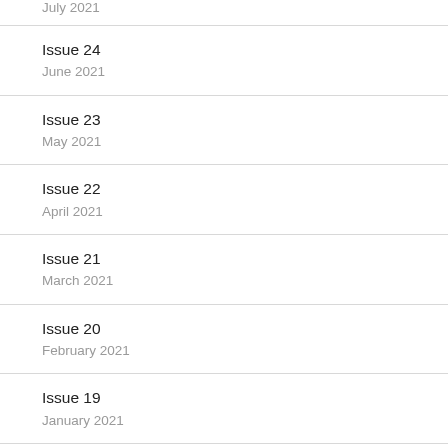July 2021
Issue 24
June 2021
Issue 23
May 2021
Issue 22
April 2021
Issue 21
March 2021
Issue 20
February 2021
Issue 19
January 2021